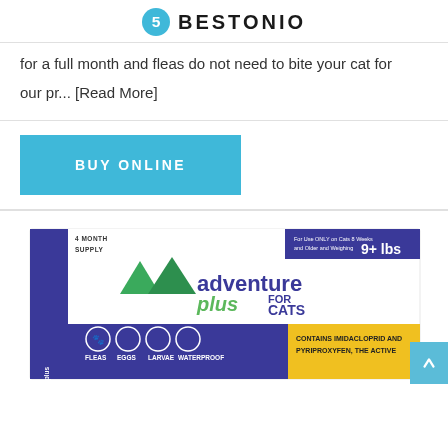BESTONIO
for a full month and fleas do not need to bite your cat for

our pr... [Read More]
[Figure (other): Teal/cyan 'BUY ONLINE' button]
[Figure (photo): Adventure Plus for Cats product box - 4 month supply, 9+ lbs, contains imidacloprid and pyriproxyfen, shows fleas, eggs, larvae, waterproof icons]